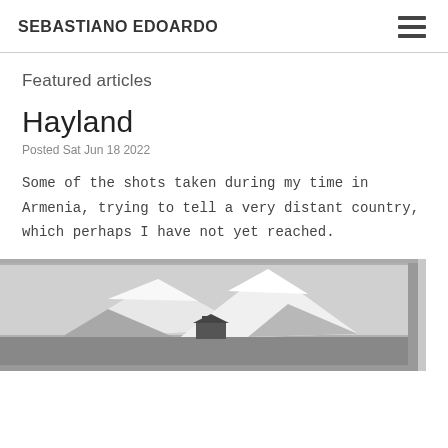SEBASTIANO EDOARDO
Featured articles
Hayland
Posted Sat Jun 18 2022
Some of the shots taken during my time in Armenia, trying to tell a very distant country, which perhaps I have not yet reached.
[Figure (photo): Black and white photograph of a framed painting showing snow-capped mountain (Mount Ararat) with a monastery or church building at its base]